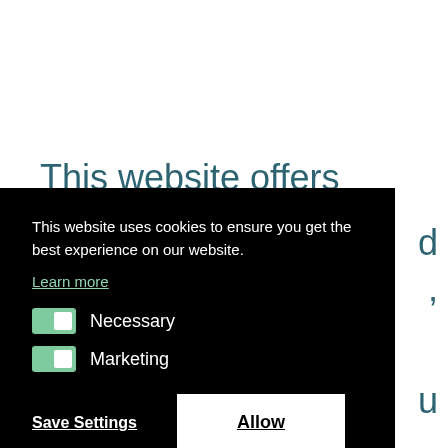This website offers more than 400
This website uses cookies to ensure you get the best experience on our website.
Learn more
Necessary
Marketing
Save Settings
Allow